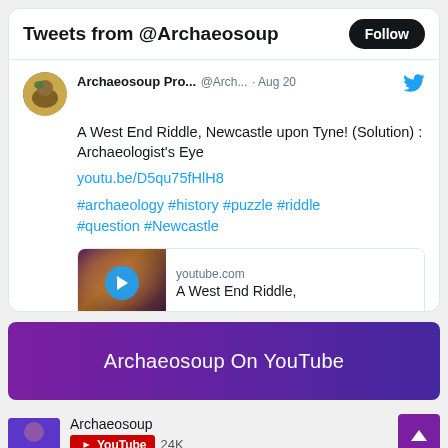Tweets from @Archaeosoup
Archaeosoup Pro... @Arch... · Aug 20
A West End Riddle, Newcastle upon Tyne! (Solution) : Archaeologist's Eye
youtu.be/D5qu75fHlH8
#archaeology #history #puzzle #riddle #question #Newcastle
[Figure (screenshot): YouTube link preview card showing thumbnail of a person with play button, site 'youtube.com', title 'A West End Riddle,']
Archaeosoup On YouTube
Archaeosoup
YouTube 24K